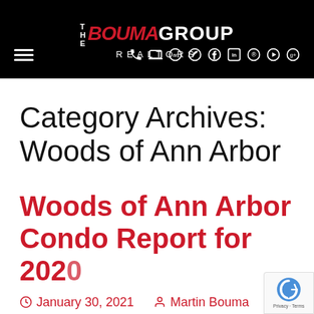[Figure (logo): The Bouma Group Realtors logo on black background with navigation icons]
Category Archives: Woods of Ann Arbor
Woods of Ann Arbor Condo Report for 2020
January 30, 2021   Martin Bouma